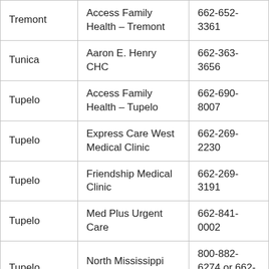| Tremont | Access Family Health – Tremont | 662-652-3361 |
| Tunica | Aaron E. Henry CHC | 662-363-3656 |
| Tupelo | Access Family Health – Tupelo | 662-690-8007 |
| Tupelo | Express Care West Medical Clinic | 662-269-2230 |
| Tupelo | Friendship Medical Clinic | 662-269-3191 |
| Tupelo | Med Plus Urgent Care | 662-841-0002 |
| Tupelo | North Mississippi Medical Center | 800-882-6274 or 662-377-3007 |
| Tupelo | Ouch Urgent Care | 662-840-6824 |
| Tupelo | Urgent Team | 662-840-8010 |